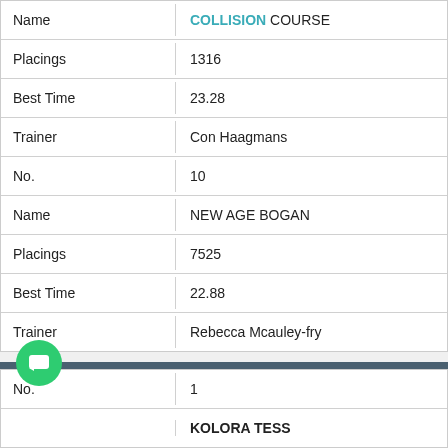| Field | Value |
| --- | --- |
| Name | COLLISION COURSE |
| Placings | 1316 |
| Best Time | 23.28 |
| Trainer | Con Haagmans |
| No. | 10 |
| Name | NEW AGE BOGAN |
| Placings | 7525 |
| Best Time | 22.88 |
| Trainer | Rebecca Mcauley-fry |
Race No. 4   1:15 PM   KINGSFORD HOTEL STAKE PR1 DIVISI…
6 event over 400 metres at Gawler Of $1,315 Prizemoney.
1st: $925 2nd: $260 3rd: $130.
| Field | Value |
| --- | --- |
| No. | 1 |
| Name | KOLORA TESS |